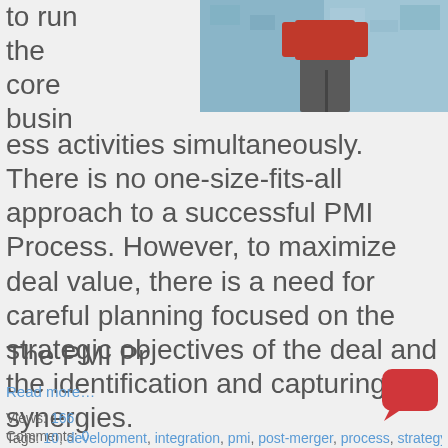[Figure (photo): Person in red top and grey pants standing against a blue textured wall, viewed from behind/side]
to run the core business activities simultaneously. There is no one-size-fits-all approach to a successful PMI Process. However, to maximize deal value, there is a need for careful planning focused on the strategic objectives of the deal and the identification and capturing of synergies.
The PMI Pr
Read more…
Views: 166
Comments: 0
Tags: 10, development, integration, pmi, post-merger, process, strategy, tips, top